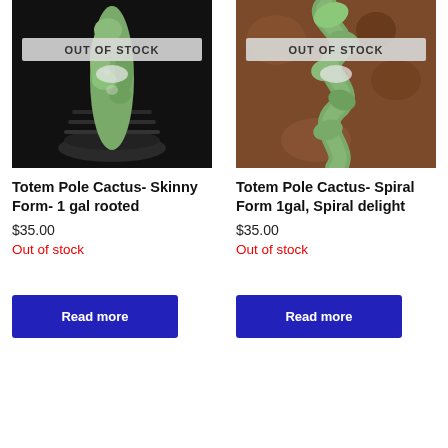[Figure (photo): Photo of Totem Pole Cactus Skinny Form in a dark pot with OUT OF STOCK overlay]
Totem Pole Cactus- Skinny Form- 1 gal rooted
$35.00
Out of stock
Read more
[Figure (photo): Photo of Totem Pole Cactus Spiral Form on brown/bokeh background with OUT OF STOCK overlay]
Totem Pole Cactus- Spiral Form 1gal, Spiral delight
$35.00
Out of stock
Read more